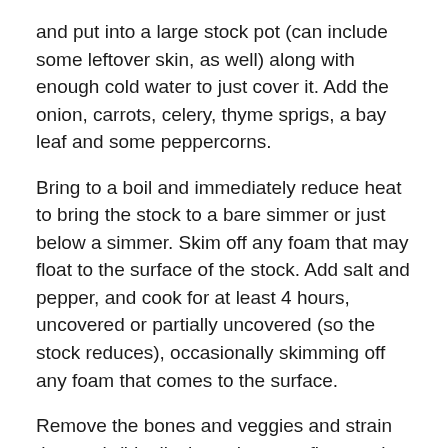and put into a large stock pot (can include some leftover skin, as well) along with enough cold water to just cover it. Add the onion, carrots, celery, thyme sprigs, a bay leaf and some peppercorns.
Bring to a boil and immediately reduce heat to bring the stock to a bare simmer or just below a simmer. Skim off any foam that may float to the surface of the stock. Add salt and pepper, and cook for at least 4 hours, uncovered or partially uncovered (so the stock reduces), occasionally skimming off any foam that comes to the surface.
Remove the bones and veggies and strain the stock (ideally through a very fine mesh strainer). Allow to cool if storing for future use.
Make the soup: Sauté the carrots, onions, and celery until